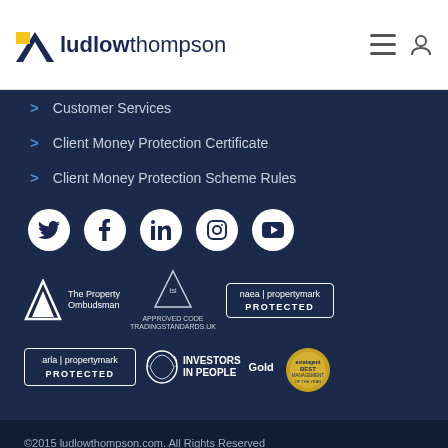ludlowthompson
Customer Services
Client Money Protection Certificate
Client Money Protection Scheme Rules
[Figure (illustration): Social media icons row: Twitter, Facebook, LinkedIn, Instagram, YouTube — white icons on dark navy circles]
[Figure (logo): Row of accreditation logos: The Property Ombudsman, TSI Approved Code (TradingStandards.uk), naea propertymark PROTECTED]
[Figure (logo): Row of accreditation logos: arla propertymark PROTECTED, Investors In People Gold, Best Estate Agent of the Year award medallion]
©2015 ludlowthompson.com. All Rights Reserved
Built with passion by Fusion Advertising & Design
Privacy Policy   Site Map